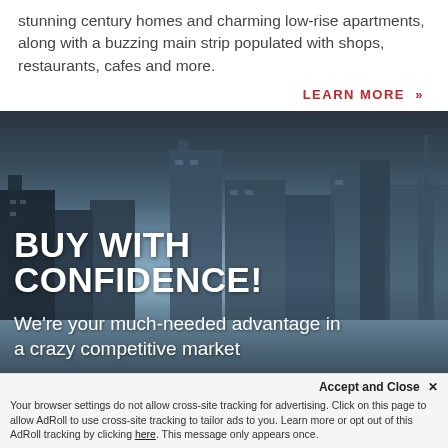stunning century homes and charming low-rise apartments, along with a buzzing main strip populated with shops, restaurants, cafes and more.
LEARN MORE »
[Figure (photo): City skyline photograph showing tall modern office buildings and skyscrapers against a blue sky, with overlay text 'BUY WITH CONFIDENCE! We're your much-needed advantage in a crazy competitive market']
Accept and Close ×
Your browser settings do not allow cross-site tracking for advertising. Click on this page to allow AdRoll to use cross-site tracking to tailor ads to you. Learn more or opt out of this AdRoll tracking by clicking here. This message only appears once.